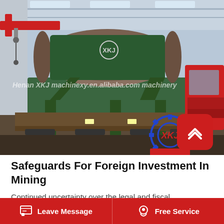[Figure (photo): Industrial photo of a large green magnetic separator machine loaded on a flatbed truck inside a factory/warehouse. Red overhead crane visible in upper left. Red truck cab visible on right. Blue gear logo with XKJ branding overlaid on lower right. Watermark text reads: Henan XKJ machinexy.en.alibaba.com machinery]
Safeguards For Foreign Investment In Mining
Continued uncertainty over the legal and fiscal
Leave Message   Free Service